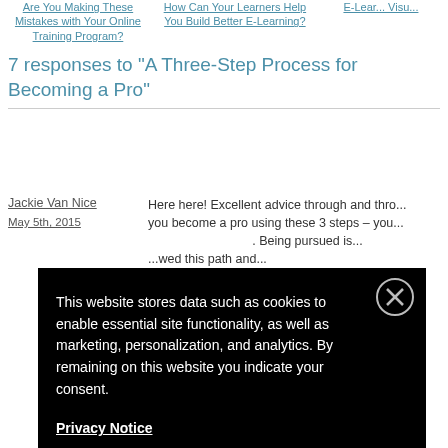Are You Making These Mistakes with Your Online Training Program? | How Can Your Learners Help You Build Better E-Learning? | E-Learn... Visu...
7 responses to “A Three-Step Process for Becoming a Pro”
Jackie Van Nice
May 5th, 2015
Here here! Excellent advice through and thro... you become a pro using these 3 steps – you... Being pursued is... wed this path and... on!) 🙂
showing your work... but you’re not goin... e ever done. 🙂 I lov... aking those opport... I get new ideas o...
[Figure (screenshot): Cookie consent overlay with black background. Text reads: 'This website stores data such as cookies to enable essential site functionality, as well as marketing, personalization, and analytics. By remaining on this website you indicate your consent.' with a Privacy Notice link and close button (X).]
We all have constraints- budget, time, projec...